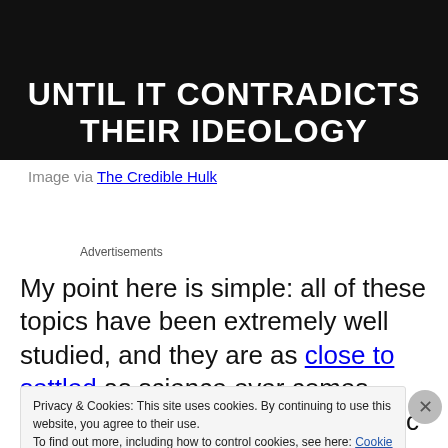[Figure (photo): Dark image with bold white text reading 'UNTIL IT CONTRADICTS THEIR IDEOLOGY', with a photo strip at the top showing people outdoors and a 'hulk' label on the right edge.]
Image via The Credible Hulk
Advertisements
My point here is simple: all of these topics have been extremely well studied, and they are as close to settled as science ever comes. Anyone who rejects anthropogenic
Privacy & Cookies: This site uses cookies. By continuing to use this website, you agree to their use.
To find out more, including how to control cookies, see here: Cookie Policy